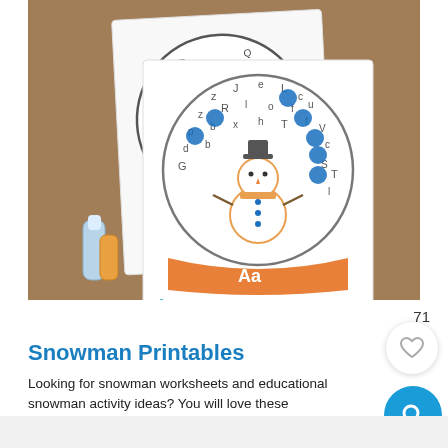[Figure (photo): Photo of snow globe letter find printable worksheets with snowman designs, letters scattered inside globe shapes, and blue dot markers. Text overlay reads 'free Snow Globe LETTER FIND']
Snowman Printables
Looking for snowman worksheets and educational snowman activity ideas? You will love these resources!